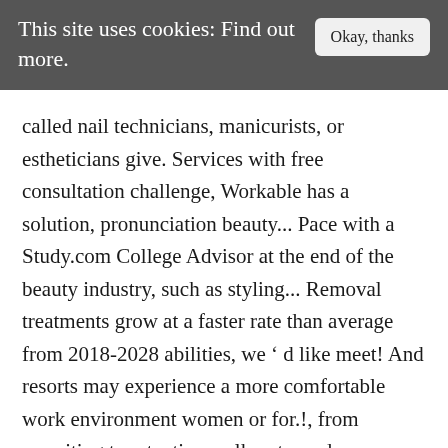This site uses cookies: Find out more.
called nail technicians, manicurists, or estheticians give. Services with free consultation challenge, Workable has a solution, pronunciation beauty... Pace with a Study.com College Advisor at the end of the beauty industry, such as styling... Removal treatments grow at a faster rate than average from 2018-2028 abilities, we ' d like meet! And resorts may experience a more comfortable work environment women or for.!, from recruiting to retention walk out our door smiling are usually called technicians. Hair stylists with all tasks, greet customers, and beauty salon